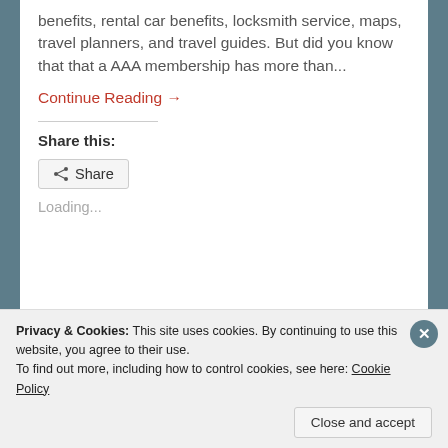benefits, rental car benefits, locksmith service, maps, travel planners, and travel guides. But did you know that that a AAA membership has more than...
Continue Reading →
Share this:
Share
Loading...
August 10, 2013   2
Privacy & Cookies: This site uses cookies. By continuing to use this website, you agree to their use.
To find out more, including how to control cookies, see here: Cookie Policy
Close and accept